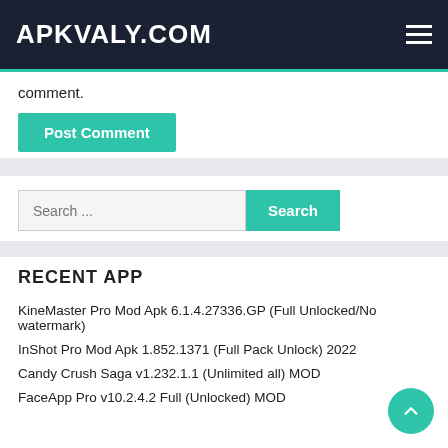APKVALY.COM
comment.
Post Comment
Search ...
RECENT APP
KineMaster Pro Mod Apk 6.1.4.27336.GP (Full Unlocked/No watermark)
InShot Pro Mod Apk 1.852.1371 (Full Pack Unlock) 2022
Candy Crush Saga v1.232.1.1 (Unlimited all) MOD
FaceApp Pro v10.2.4.2 Full (Unlocked) MOD